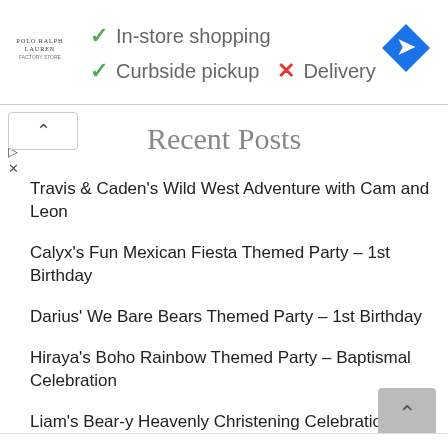[Figure (infographic): Store information header with logo, checkmarks for In-store shopping and Curbside pickup, X for Delivery, and Google Maps icon]
Recent Posts
Travis & Caden's Wild West Adventure with Cam and Leon
Calyx's Fun Mexican Fiesta Themed Party – 1st Birthday
Darius' We Bare Bears Themed Party – 1st Birthday
Hiraya's Boho Rainbow Themed Party – Baptismal Celebration
Liam's Bear-y Heavenly Christening Celebration